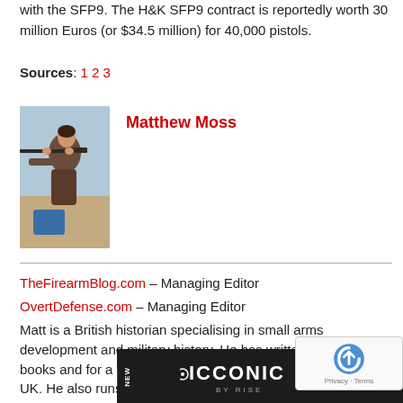with the SFP9. The H&K SFP9 contract is reportedly worth 30 million Euros (or $34.5 million) for 40,000 pistols.
Sources: 1 2 3
Matthew Moss
[Figure (photo): Photo of Matthew Moss shooting a rifle at a range outdoors]
TheFirearmBlog.com – Managing Editor
OvertDefense.com – Managing Editor
Matt is a British historian specialising in small arms development and military history. He has written several books and for a variety of publications in both the US and UK. He also runs Historical Firearms, a blog that explores the history, development and firearms. series on
[Figure (other): Advertisement banner: ICCONIC BY RISE, new product advertisement with firearm components imagery on dark background]
[Figure (other): Google reCAPTCHA badge with Privacy and Terms links]